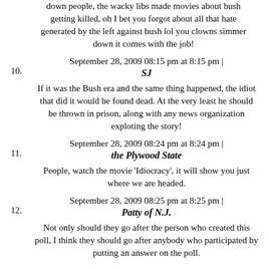down people, the wacky libs made movies about bush getting killed, oh I bet you forgot about all that hate generated by the left against bush lol you clowns simmer down it comes with the job!
September 28, 2009 08:15 pm at 8:15 pm | SJ
If it was the Bush era and the same thing happened, the idiot that did it would be found dead. At the very least he should be thrown in prison, along with any news organization exploting the story!
September 28, 2009 08:24 pm at 8:24 pm | the Plywood State
People, watch the movie 'Idiocracy', it will show you just where we are headed.
September 28, 2009 08:25 pm at 8:25 pm | Patty of N.J.
Not only should they go after the person who created this poll, I think they should go after anybody who participated by putting an answer on the poll.